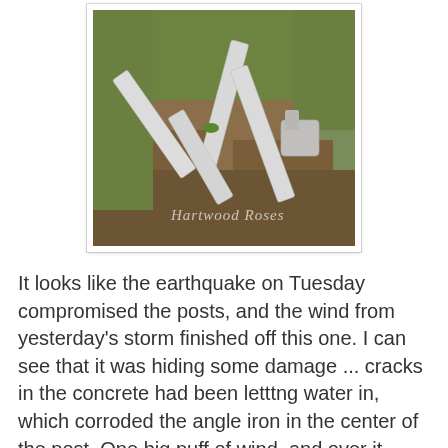[Figure (photo): Photograph of broken white wooden fence posts lying on the ground on grass and dirt, watermarked 'Hartwood Roses' in script text]
It looks like the earthquake on Tuesday compromised the posts, and the wind from yesterday's storm finished off this one.  I can see that it was hiding some damage ... cracks in the concrete had been letttng water in, which corroded the angle iron in the center of the post.  One big puff of wind, and over it went.
All of the pieces are here, so I think I can fix it.  Using